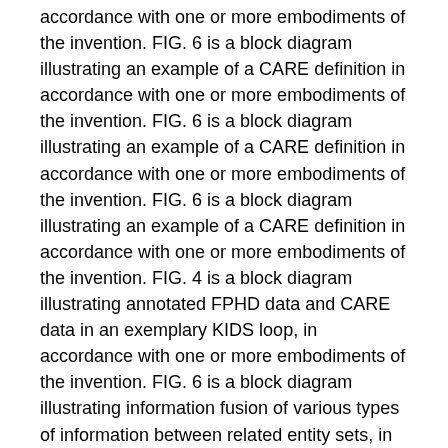accordance with one or more embodiments of the invention. FIG. 6 is a block diagram illustrating an example of a CARE definition in accordance with one or more embodiments of the invention. FIG. 6 is a block diagram illustrating an example of a CARE definition in accordance with one or more embodiments of the invention. FIG. 6 is a block diagram illustrating an example of a CARE definition in accordance with one or more embodiments of the invention. FIG. 4 is a block diagram illustrating annotated FPHD data and CARE data in an exemplary KIDS loop, in accordance with one or more embodiments of the invention. FIG. 6 is a block diagram illustrating information fusion of various types of information between related entity sets, in accordance with one or more embodiments of the present invention. FIG. 6 is a block diagram illustrating an implementation of a CARE loop according to one or more embodiments of the present invention.
In the following description, for the purposes of explanation, numerous specific details are set forth in order to provide a thorough understanding of various embodiments of the invention. However, it will be apparent to those skilled in the art that the present invention may be